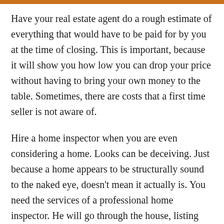Have your real estate agent do a rough estimate of everything that would have to be paid for by you at the time of closing. This is important, because it will show you how low you can drop your price without having to bring your own money to the table. Sometimes, there are costs that a first time seller is not aware of.
Hire a home inspector when you are even considering a home. Looks can be deceiving. Just because a home appears to be structurally sound to the naked eye, doesn't mean it actually is. You need the services of a professional home inspector. He will go through the house, listing any problems that need to be addressed. Once you have this